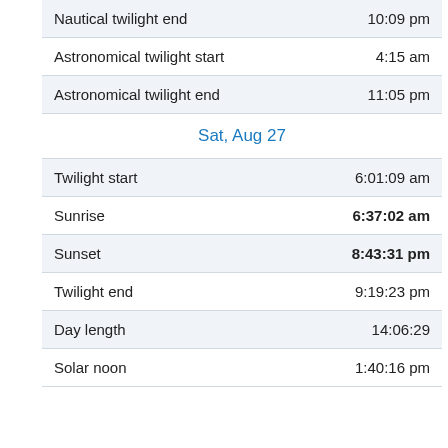| Nautical twilight end | 10:09 pm |
| Astronomical twilight start | 4:15 am |
| Astronomical twilight end | 11:05 pm |
| Sat, Aug 27 |  |
| Twilight start | 6:01:09 am |
| Sunrise | 6:37:02 am |
| Sunset | 8:43:31 pm |
| Twilight end | 9:19:23 pm |
| Day length | 14:06:29 |
| Solar noon | 1:40:16 pm |